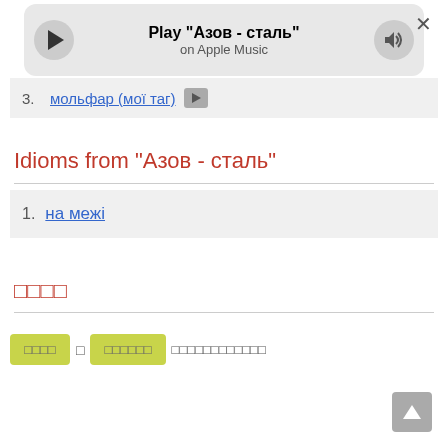[Figure (screenshot): Music player bar showing Play 'Азов - сталь' on Apple Music with play button, progress bar, volume button, and close X button]
3. мольфар (мoї таг)
Idioms from "Азов - сталь"
1. на межі
□□□□
□□□□ □ □□□□□□ □□□□□□□□□□□□